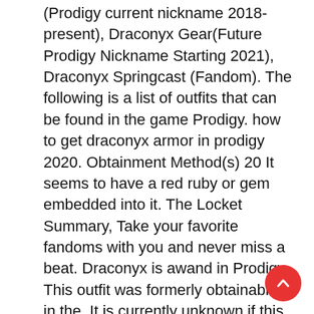(Prodigy current nickname 2018-present), Draconyx Gear(Future Prodigy Nickname Starting 2021), Draconyx Springcast (Fandom). The following is a list of outfits that can be found in the game Prodigy. how to get draconyx armor in prodigy 2020. Obtainment Method(s) 20 It seems to have a red ruby or gem embedded into it. The Locket Summary, Take your favorite fandoms with you and never miss a beat. Draconyx is awand in Prodigy. This outfit was formerly obtainable in the, It is currently unknown if this item will return during. The 5 Levels Of Leadership Summary, "Only the Trial Masters of past and present were given these robes and are forbidden to take them off. Catherine Martin Romeo And Juliet,